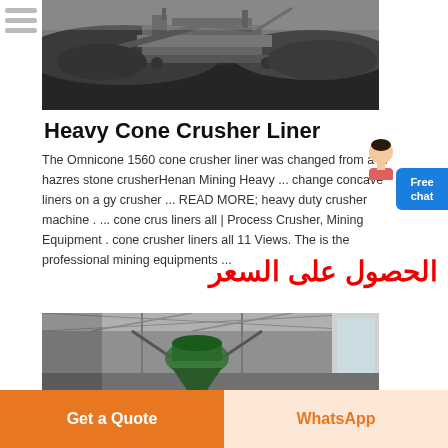[Figure (photo): Outdoor mining/crushing plant machinery on a dark gravel site]
Heavy Cone Crusher Liner
The Omnicone 1560 cone crusher liner was changed from a ... hazres stone crusherHenan Mining Heavy ... change concave liners on a gy crusher ... READ MORE; heavy duty crusher machine . ... cone crus liners all | Process Crusher, Mining Equipment . cone crusher liners all 11 Views. The is the professional mining equipments ...
[Figure (photo): Arabic red text: الحصول على السعر]
[Figure (photo): Indoor industrial building with cone crusher machinery]
Get a Quote
WhatsApp